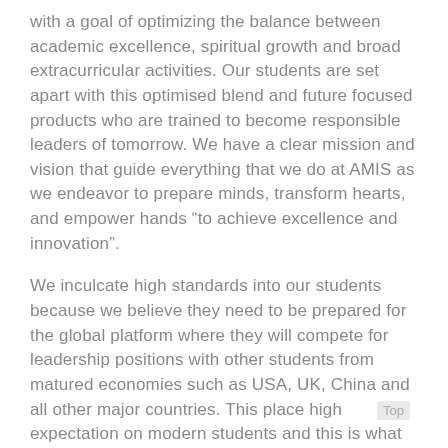with a goal of optimizing the balance between academic excellence, spiritual growth and broad extracurricular activities. Our students are set apart with this optimised blend and future focused products who are trained to become responsible leaders of tomorrow. We have a clear mission and vision that guide everything that we do at AMIS as we endeavor to prepare minds, transform hearts, and empower hands “to achieve excellence and innovation”.
We inculcate high standards into our students because we believe they need to be prepared for the global platform where they will compete for leadership positions with other students from matured economies such as USA, UK, China and all other major countries. This place high expectation on modern students and this is what we prepare them for through the highest standard of education offered.